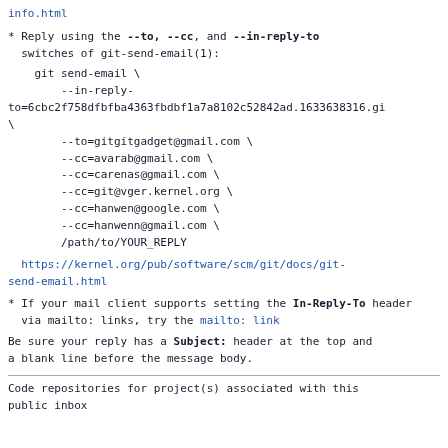info.html
* Reply using the --to, --cc, and --in-reply-to switches of git-send-email(1):
git send-email \
    --in-reply-to=6cbc2f758dfbfba4363fbdbf1a7a8102c52842ad.1633638316.gi\
    --to=gitgitgadget@gmail.com \
    --cc=avarab@gmail.com \
    --cc=carenas@gmail.com \
    --cc=git@vger.kernel.org \
    --cc=hanwen@google.com \
    --cc=hanwenn@gmail.com \
    /path/to/YOUR_REPLY
https://kernel.org/pub/software/scm/git/docs/git-send-email.html
* If your mail client supports setting the In-Reply-To header
  via mailto: links, try the mailto: link
Be sure your reply has a Subject: header at the top and a blank line before the message body.
Code repositories for project(s) associated with this public inbox